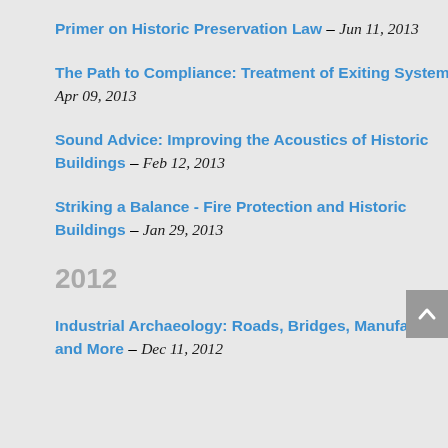Primer on Historic Preservation Law – Jun 11, 2013
The Path to Compliance: Treatment of Exiting Systems – Apr 09, 2013
Sound Advice: Improving the Acoustics of Historic Buildings – Feb 12, 2013
Striking a Balance - Fire Protection and Historic Buildings – Jan 29, 2013
2012
Industrial Archaeology: Roads, Bridges, Manufacturing and More – Dec 11, 2012